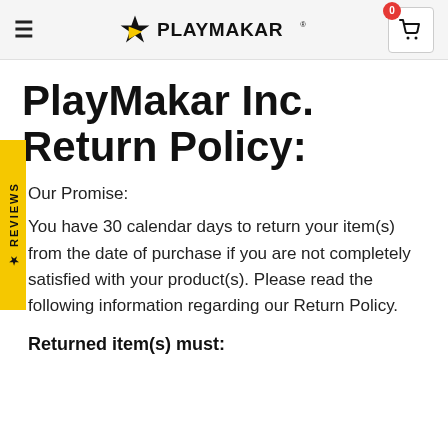PlayMakar logo navigation header with hamburger menu and cart icon
PlayMakar Inc. Return Policy:
Our Promise:
You have 30 calendar days to return your item(s) from the date of purchase if you are not completely satisfied with your product(s). Please read the following information regarding our Return Policy.
Returned item(s) must: